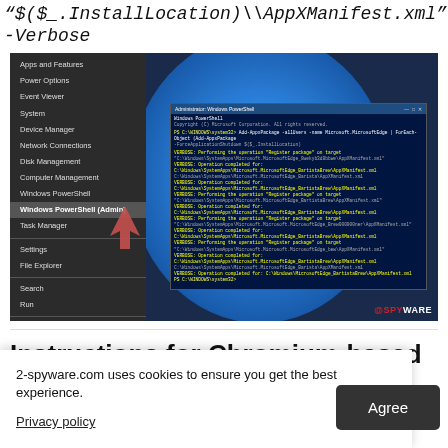"$($_.InstallLocation)\\AppXManifest.xml" -Verbose
[Figure (screenshot): Windows 10 right-click context menu showing 'Windows PowerShell (Admin)' option highlighted with a red arrow, overlaid on a PowerShell window showing Add-AppxPackage commands, against a blue background with the @SPYWARE watermark.]
Instructions for Chromium-based Edge
ium):
xtensions.
2-spyware.com uses cookies to ensure you get the best experience.
Privacy policy
Agree